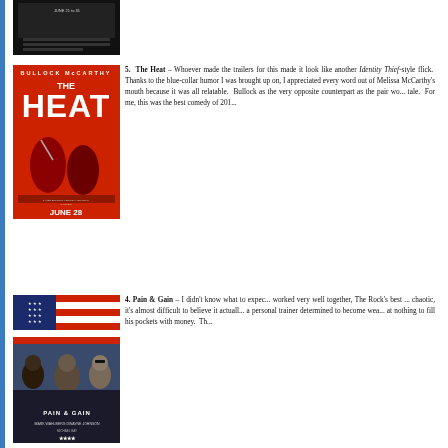[Figure (photo): Movie poster/image at top of page, partially cropped, dark background with text]
[Figure (photo): The Heat movie poster - red background with Bullock and McCarthy, JUNE 28 release]
5.  The Heat – Whoever made the trailers for this made it look like another Identity Thief-style flick.  Thanks to the blue-collar humor I was brought up on, I appreciated every word out of Melissa McCarthy's mouth because it was all relatable.  Bullock as the very opposite counterpart as the pair work to solve a tale.  For me, this was the best comedy of 201...
[Figure (photo): Pain & Gain movie poster - American flag background with three muscular men]
4. Pain & Gain – I didn't know what to expect... worked very well together, The Rock's best ... chaotic, it's almost difficult to believe it actually... a personal trainer determined to become wea... at nothing to fill his pockets with money. Th...